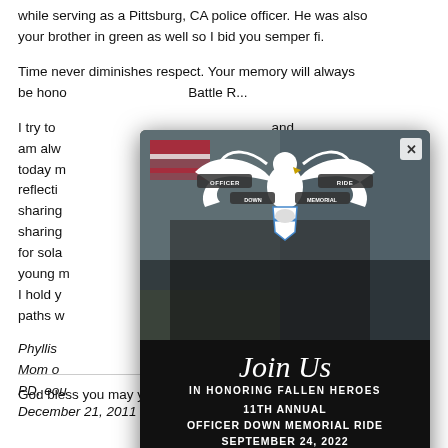while serving as a Pittsburg, CA police officer. He was also your brother in green as well so I bid you semper fi.
Time never diminishes respect. Your memory will always be hono... [partially obscured by modal]
I try to ... and am alw... out today m... loving reflecti... sharing... sharing... r. I pray for sola... brave young m... orever. I hold y... be our paths w...
[Figure (infographic): Officer Down Memorial Ride popup modal with eagle logo, 'Join Us In Honoring Fallen Heroes', '11th Annual Officer Down Memorial Ride September 24, 2022', and 'Register Now' button. Background shows motorcycles at a rally.]
Phyllis ...
Mom o... ...burg PD, eou...
December 21, 2011
God bless you may you rest in peace.